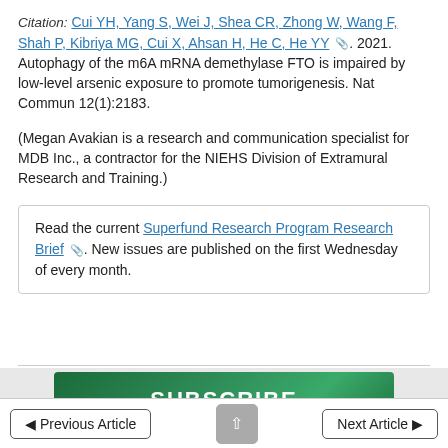Citation: Cui YH, Yang S, Wei J, Shea CR, Zhong W, Wang F, Shah P, Kibriya MG, Cui X, Ahsan H, He C, He YY. 2021. Autophagy of the m6A mRNA demethylase FTO is impaired by low-level arsenic exposure to promote tumorigenesis. Nat Commun 12(1):2183.
(Megan Avakian is a research and communication specialist for MDB Inc., a contractor for the NIEHS Division of Extramural Research and Training.)
Read the current Superfund Research Program Research Brief. New issues are published on the first Wednesday of every month.
[Figure (other): Green subscribe banner with text SUBSCRIBE and Sign up for monthly newsletter updates]
Previous Article | scroll up | Next Article